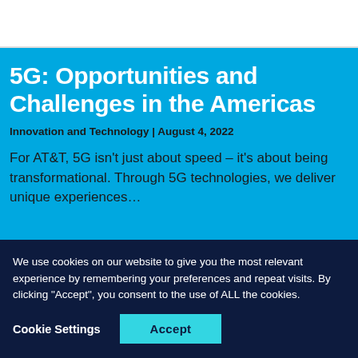5G: Opportunities and Challenges in the Americas
Innovation and Technology | August 4, 2022
For AT&T, 5G isn't just about speed – it's about being transformational. Through 5G technologies, we deliver unique experiences…
We use cookies on our website to give you the most relevant experience by remembering your preferences and repeat visits. By clicking "Accept", you consent to the use of ALL the cookies.
Cookie Settings  Accept